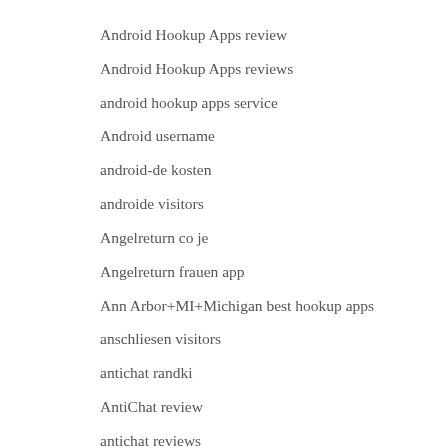Android Hookup Apps review
Android Hookup Apps reviews
android hookup apps service
Android username
android-de kosten
androide visitors
Angelreturn co je
Angelreturn frauen app
Ann Arbor+MI+Michigan best hookup apps
anschliesen visitors
antichat randki
AntiChat review
antichat reviews
antioch eros escort
antioch escort